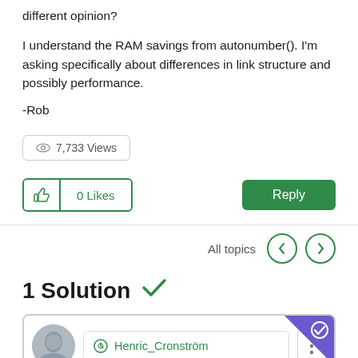different opinion?
I understand the RAM savings from autonumber(). I'm asking specifically about differences in link structure and possibly performance.
-Rob
7,733 Views
0 Likes
Reply
All topics
1 Solution
Henric_Cronström